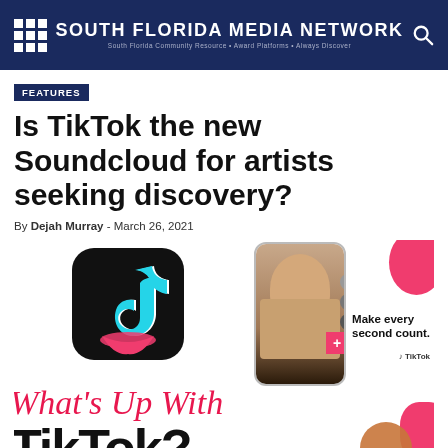SOUTH FLORIDA MEDIA NETWORK
FEATURES
Is TikTok the new Soundcloud for artists seeking discovery?
By Dejah Murray - March 26, 2021
[Figure (photo): Promotional image with TikTok logo, phone mockup showing a young woman, 'Make every second count' tagline, and 'What's Up With TikTok?' headline in red cursive and bold black text]